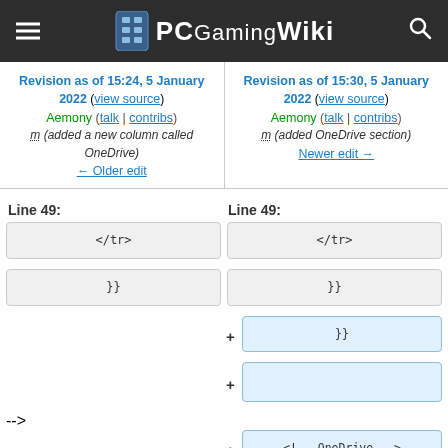PCGamingWiki
Revision as of 15:24, 5 January 2022 (view source)
Aemony (talk | contribs)
m (added a new column called OneDrive)
← Older edit
Revision as of 15:30, 5 January 2022 (view source)
Aemony (talk | contribs)
m (added OneDrive section)
Newer edit →
Line 49:
Line 49:
</tr>
}}
</tr>
}}
+ }}
+
+ <!-- OneDrive -->
+ {{#ifeq:
{{#var:SavesInDocuments|none}}|true|
+ <tr class="template-